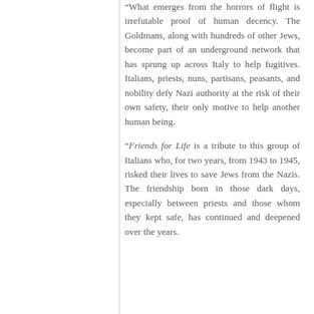"What emerges from the horrors of flight is irrefutable proof of human decency. The Goldmans, along with hundreds of other Jews, become part of an underground network that has sprung up across Italy to help fugitives. Italians, priests, nuns, partisans, peasants, and nobility defy Nazi authority at the risk of their own safety, their only motive to help another human being.
“Friends for Life is a tribute to this group of Italians who, for two years, from 1943 to 1945, risked their lives to save Jews from the Nazis. The friendship born in those dark days, especially between priests and those whom they kept safe, has continued and deepened over the years.